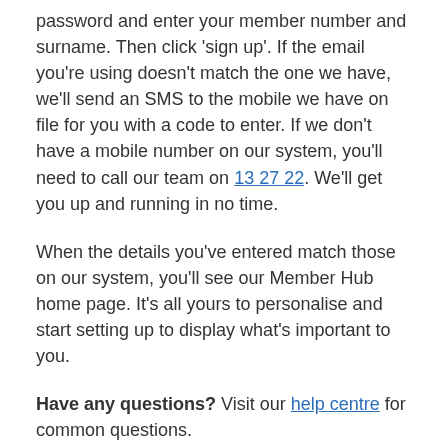password and enter your member number and surname. Then click 'sign up'. If the email you're using doesn't match the one we have, we'll send an SMS to the mobile we have on file for you with a code to enter. If we don't have a mobile number on our system, you'll need to call our team on 13 27 22. We'll get you up and running in no time.
When the details you've entered match those on our system, you'll see our Member Hub home page. It's all yours to personalise and start setting up to display what's important to you.
Have any questions? Visit our help centre for common questions.